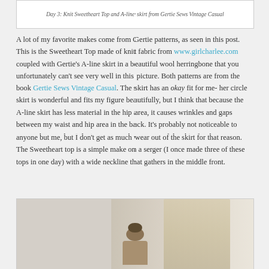Day 3: Knit Sweetheart Top and A-line skirt from Gertie Sews Vintage Casual
A lot of my favorite makes come from Gertie patterns, as seen in this post. This is the Sweetheart Top made of knit fabric from www.girlcharlee.com coupled with Gertie's A-line skirt in a beautiful wool herringbone that you unfortunately can't see very well in this picture. Both patterns are from the book Gertie Sews Vintage Casual. The skirt has an okay fit for me- her circle skirt is wonderful and fits my figure beautifully, but I think that because the A-line skirt has less material in the hip area, it causes wrinkles and gaps between my waist and hip area in the back. It's probably not noticeable to anyone but me, but I don't get as much wear out of the skirt for that reason. The Sweetheart top is a simple make on a serger (I once made three of these tops in one day) with a wide neckline that gathers in the middle front.
[Figure (photo): Photo of a person wearing the Sweetheart Top and A-line skirt, partially visible, showing head with braided updo hairstyle against a light background with curtain.]